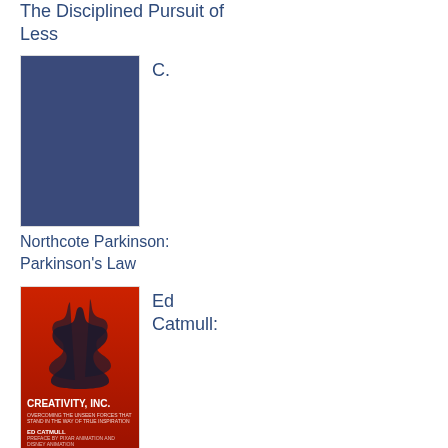The Disciplined Pursuit of Less
[Figure (photo): Dark navy blue book cover with no visible text or imagery, plain solid color]
C.
Northcote Parkinson: Parkinson's Law
[Figure (photo): Red book cover for Creativity, Inc. by Ed Catmull, featuring a dark silhouette of a conductor against a red background]
Ed Catmull:
Creativity, Inc.: Overcoming